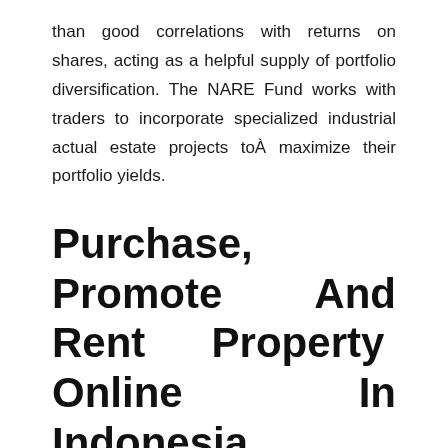than good correlations with returns on shares, acting as a helpful supply of portfolio diversification. The NARE Fund works with traders to incorporate specialized industrial actual estate projects toÂ maximize their portfolio yields.
Purchase, Promote And Rent Property Online In Indonesia
anonymous,uncategorized,misc,general,other
Nare